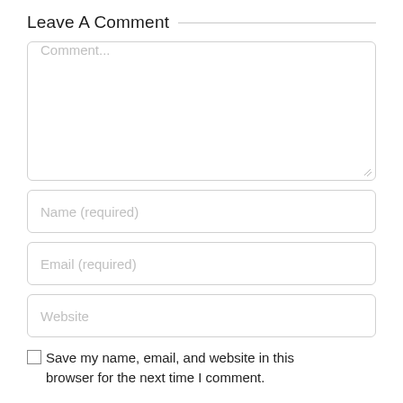Leave A Comment
Comment...
Name (required)
Email (required)
Website
Save my name, email, and website in this browser for the next time I comment.